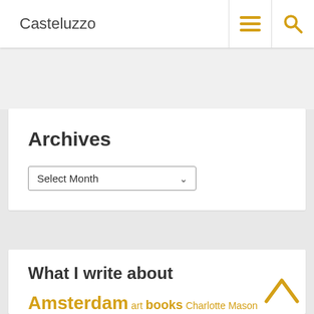Casteluzzo
Archives
Select Month
What I write about
Amsterdam art books Charlotte Mason